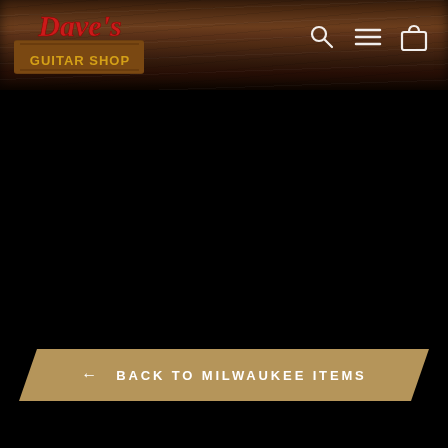[Figure (logo): Dave's Guitar Shop logo - red decorative text 'Dave's' with yellow 'GUITAR SHOP' on brown banner, positioned top-left of header navigation bar]
[Figure (screenshot): Navigation icons: search (magnifying glass), menu (three horizontal lines), and cart (shopping bag) icons in white on dark wood-grain header background]
[Figure (photo): Main content area - entirely black, product image area appears blank/dark]
← BACK TO MILWAUKEE ITEMS